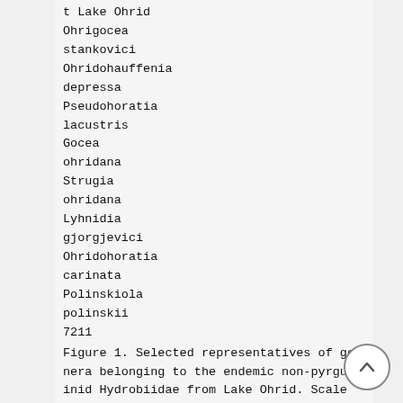t Lake Ohrid
Ohrigocea
stankovici
Ohridohauffenia
depressa
Pseudohoratia
lacustris
Gocea
ohridana
Strugia
ohridana
Lyhnidia
gjorgjevici
Ohridohoratia
carinata
Polinskiola
polinskii
7211
Figure 1. Selected representatives of genera belonging to the endemic non-pyrgulid Hydrobiidae from Lake Ohrid. Scale bar:
1 mm.
ii. Utilizing lineage-through-time (LTT)